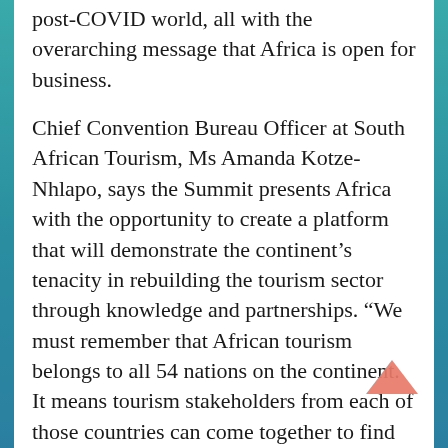post-COVID world, all with the overarching message that Africa is open for business.
Chief Convention Bureau Officer at South African Tourism, Ms Amanda Kotze-Nhlapo, says the Summit presents Africa with the opportunity to create a platform that will demonstrate the continent's tenacity in rebuilding the tourism sector through knowledge and partnerships. “We must remember that African tourism belongs to all 54 nations on the continent. It means tourism stakeholders from each of those countries can come together to find ways of making travel to our continent easier and more inviting to global tourists.”
Africa’s tourism industry faces numerous challenges in its bid to rebuild. The United Nation’s World Tourism Organization (UNWTO)